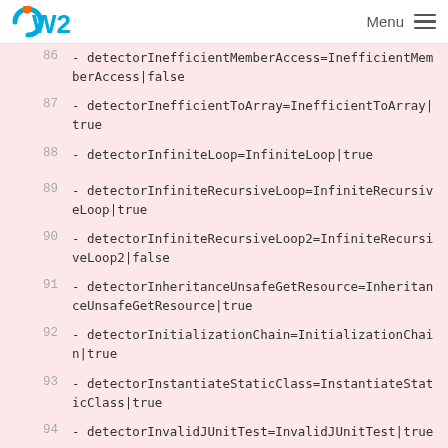OW2  Menu
86  - detectorInefficientMemberAccess=InefficientMemberAccess|false
87  - detectorInefficientToArray=InefficientToArray|true
88  - detectorInfiniteLoop=InfiniteLoop|true
89  - detectorInfiniteRecursiveLoop=InfiniteRecursiveLoop|true
90  - detectorInfiniteRecursiveLoop2=InfiniteRecursiveLoop2|false
91  - detectorInheritanceUnsafeGetResource=InheritanceUnsafeGetResource|true
92  - detectorInitializationChain=InitializationChain|true
93  - detectorInstantiateStaticClass=InstantiateStaticClass|true
94  - detectorInvalidJUnitTest=InvalidJUnitTest|true
95  - detectorIteratorIdioms=IteratorIdioms|true